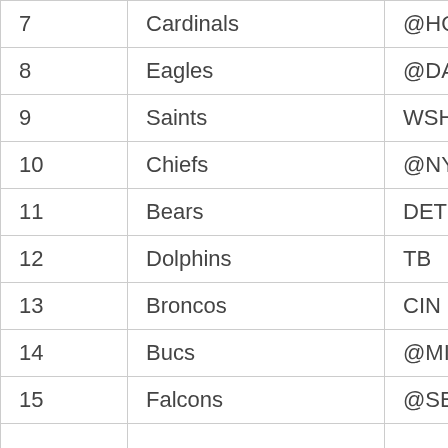| 7 | Cardinals | @HOU |
| 8 | Eagles | @DAL |
| 9 | Saints | WSH |
| 10 | Chiefs | @NYG |
| 11 | Bears | DET |
| 12 | Dolphins | TB |
| 13 | Broncos | CIN |
| 14 | Bucs | @MIA |
| 15 | Falcons | @SEA |
|  |  |  |